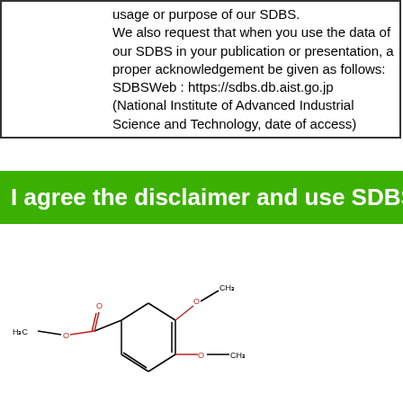|  | usage or purpose of our SDBS.
We also request that when you use the data of our SDBS in your publication or presentation, a proper acknowledgement be given as follows:
SDBSWeb : https://sdbs.db.aist.go.jp
(National Institute of Advanced Industrial Science and Technology, date of access) |
I agree the disclaimer and use SDBS
[Figure (illustration): Chemical structure of a benzene ring with two methoxy groups (OCH3) at ortho positions and one methyl ester group (C(=O)OCH3) substituent, drawn as a structural formula in red and black lines.]